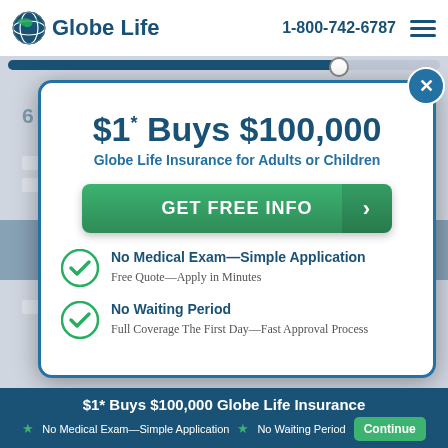Globe Life | 1-800-742-6787
$1* Buys $100,000
Globe Life Insurance for Adults or Children
GET FREE INFO
No Medical Exam—Simple Application
Free Quote—Apply in Minutes
No Waiting Period
Full Coverage The First Day—Fast Approval Process
$1* Buys $100,000 Globe Life Insurance
* No Medical Exam—Simple Application  * No Waiting Period  Continue